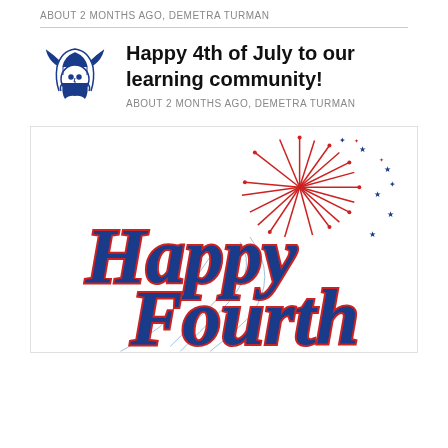ABOUT 2 MONTHS AGO, DEMETRA TURMAN
Happy 4th of July to our learning community!
ABOUT 2 MONTHS AGO, DEMETRA TURMAN
[Figure (illustration): Happy Fourth of July decorative illustration with fireworks and cursive lettering in red, white, and blue]